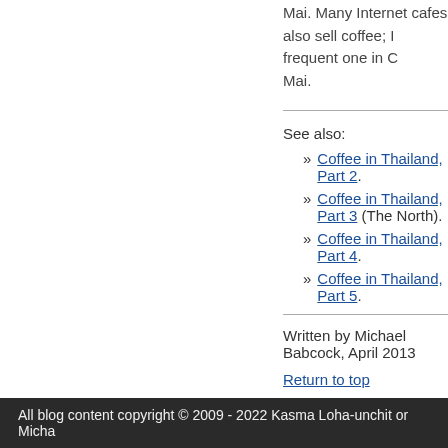Mai. Many Internet cafes also sell coffee; I frequent one in Chiang Mai.
See also:
» Coffee in Thailand, Part 2.
» Coffee in Thailand, Part 3 (The North).
» Coffee in Thailand, Part 4.
» Coffee in Thailand, Part 5.
Written by Michael Babcock, April 2013
Return to top
All blog content copyright © 2009 - 2022 Kasma Loha-unchit or Micha…